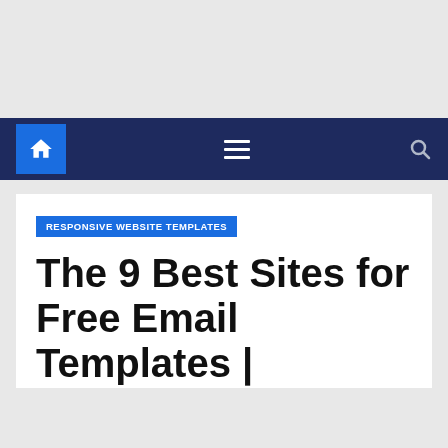Navigation bar with home, menu, and search icons
RESPONSIVE WEBSITE TEMPLATES
The 9 Best Sites for Free Email Templates | Sendinblue